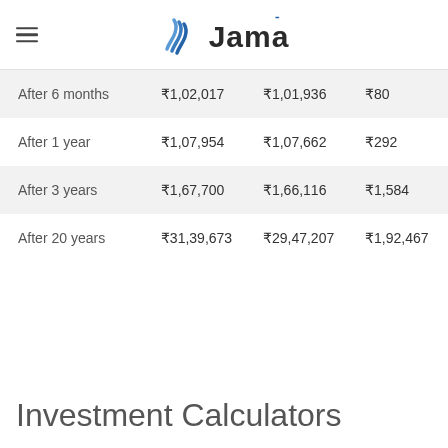Jama
|  |  |  |  |
| --- | --- | --- | --- |
| After 6 months | ₹1,02,017 | ₹1,01,936 | ₹80 |
| After 1 year | ₹1,07,954 | ₹1,07,662 | ₹292 |
| After 3 years | ₹1,67,700 | ₹1,66,116 | ₹1,584 |
| After 20 years | ₹31,39,673 | ₹29,47,207 | ₹1,92,467 |
Investment Calculators